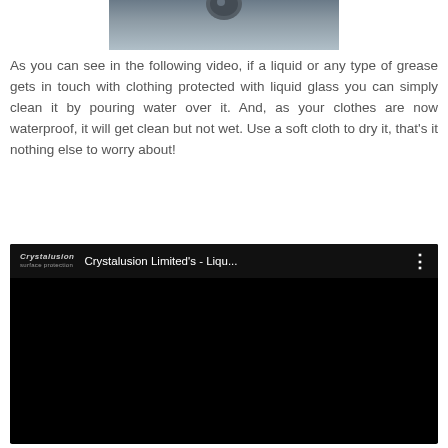[Figure (photo): Top portion of a photo showing a metallic or dark surface with a spherical object, partially cropped]
As you can see in the following video, if a liquid or any type of grease gets in touch with clothing protected with liquid glass you can simply clean it by pouring water over it. And, as your clothes are now waterproof, it will get clean but not wet. Use a soft cloth to dry it, that's it nothing else to worry about!
[Figure (screenshot): Embedded video player showing a YouTube video titled 'Crystalusion Limited's - Liqu...' with Crystalusion logo and three-dot menu icon, black video area]